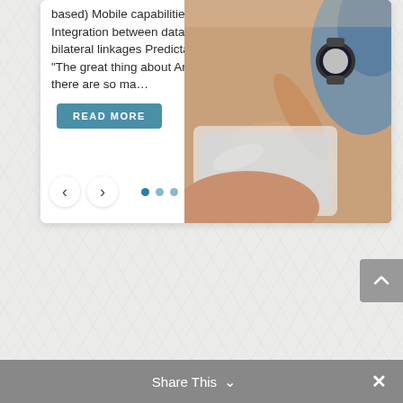based) Mobile capabilities Integration between databases with bilateral linkages Predictable cost “The great thing about Argus is that there are so ma…
[Figure (photo): A close-up photo of a person's hand using a tablet device, wearing a watch, with a blue denim sleeve visible.]
READ MORE
[Figure (other): Carousel navigation: left arrow button, right arrow button, and three navigation dots (first dot active)]
[Figure (other): Scroll-to-top button (grey, with upward chevron)]
Share This ∨  ×